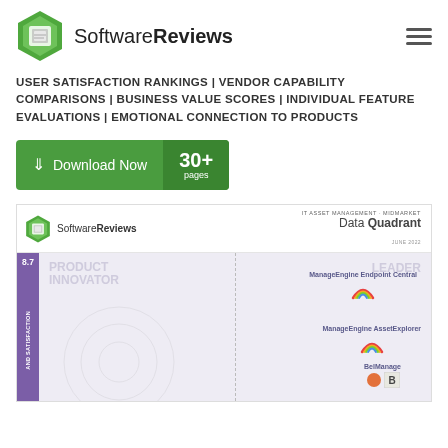[Figure (logo): SoftwareReviews hexagon logo with text 'SoftwareReviews']
USER SATISFACTION RANKINGS | VENDOR CAPABILITY COMPARISONS | BUSINESS VALUE SCORES | INDIVIDUAL FEATURE EVALUATIONS | EMOTIONAL CONNECTION TO PRODUCTS
[Figure (other): Green 'Download Now 30+ pages' button]
[Figure (other): SoftwareReviews Data Quadrant for IT Asset Management - Midmarket, showing ManageEngine Endpoint Central, ManageEngine AssetExplorer, and BelManage in the Leader quadrant. Y-axis labeled 'AND SATISFACTION' with score 8.7 shown. Product Innovator and Leader quadrant labels visible.]